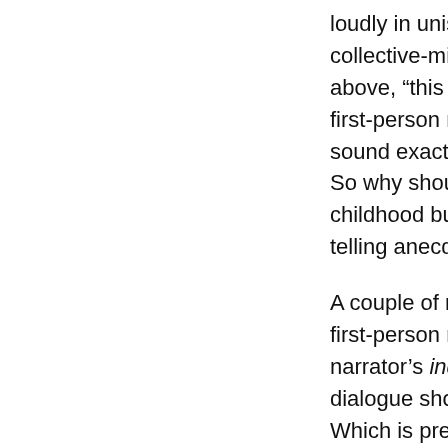loudly in unison, rather like the remarkably collective-minded children in the anecdote above, “this is how I was taught to write first-person narration. It’s supposed to sound exactly like a real person's speech. So why shouldn’t St. Joan’s unnamed childhood buddy sound like anybody else telling anecdotes out loud?”
A couple of reasons, actually. Yes, good first-person narration takes into account the narrator’s individual speech patterns; no dialogue should sound like just anybody. Which is precisely the problem with all of those